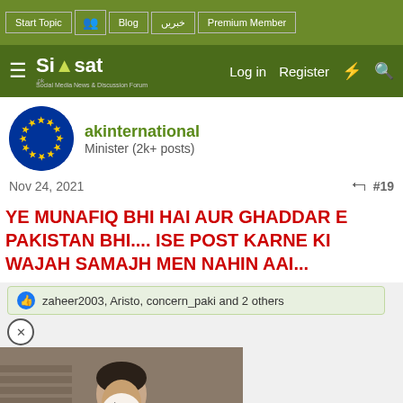Start Topic | Blog | خبریں | Premium Member
Siasat.pk — Log in | Register
akinternational
Minister (2k+ posts)
Nov 24, 2021  #19
YE MUNAFIQ BHI HAI AUR GHADDAR E PAKISTAN BHI.... ISE POST KARNE KI WAJAH SAMAJH MEN NAHIN AAI...
zaheer2003, Aristo, concern_paki and 2 others
[Figure (photo): Video thumbnail showing a man in a suit with a red tie, with a play button overlay]